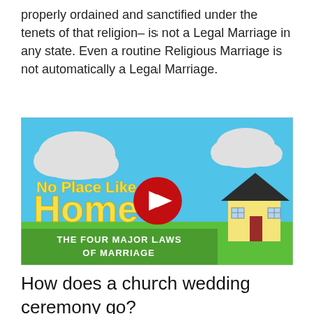properly ordained and sanctified under the tenets of that religion– is not a Legal Marriage in any state. Even a routine Religious Marriage is not automatically a Legal Marriage.
[Figure (screenshot): YouTube video thumbnail titled 'No Place Like Home – The Four Major Laws of Marriage' showing a cartoon house, clouds on blue sky, green grass, and a YouTube play button overlay.]
How does a church wedding ceremony go?